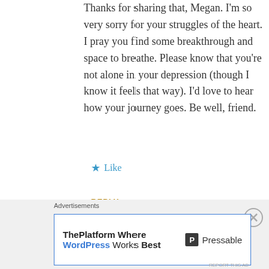Thanks for sharing that, Megan. I'm so very sorry for your struggles of the heart. I pray you find some breakthrough and space to breathe. Please know that you're not alone in your depression (though I know it feels that way). I'd love to hear how your journey goes. Be well, friend.
★ Like
REPLY
Pingback: Make America Grateful Again
Advertisements
ThePlatform Where WordPress Works Best — Pressable